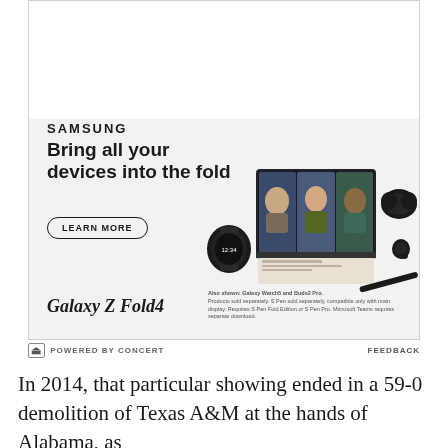[Figure (photo): Samsung Galaxy Z Fold4 advertisement showing Samsung logo, headline 'Bring all your devices into the fold', a Learn More button, and product images including a Galaxy Watch, Galaxy Z Fold4 phone with video call, earbuds, and S-Pen. Bottom has Galaxy Z Fold4 branding and small disclaimer text.]
POWERED BY CONCERT   FEEDBACK
In 2014, that particular showing ended in a 59-0 demolition of Texas A&M at the hands of Alabama, as